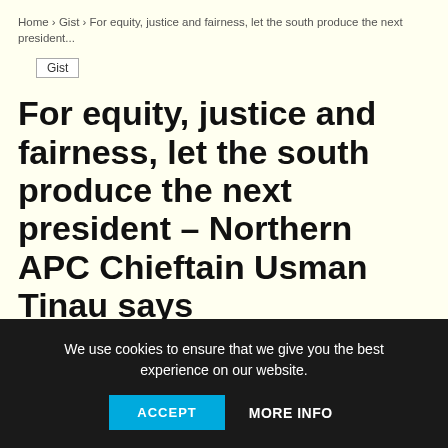Home › Gist › For equity, justice and fairness, let the south produce the next president...
Gist
For equity, justice and fairness, let the south produce the next president – Northern APC Chieftain Usman Tinau says
By Terry Paul - July 6, 2021  💬 0
[Figure (photo): Partial photo of a person wearing a patterned cap, cropped at bottom of image area]
We use cookies to ensure that we give you the best experience on our website.
ACCEPT   MORE INFO